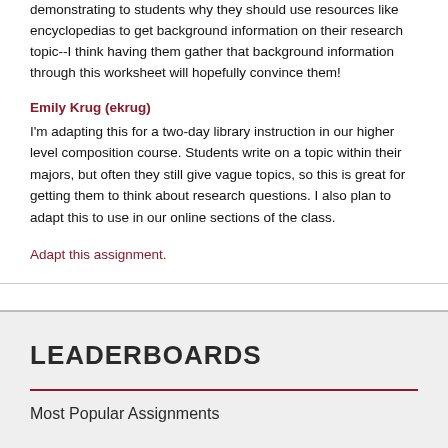demonstrating to students why they should use resources like encyclopedias to get background information on their research topic--I think having them gather that background information through this worksheet will hopefully convince them!
Emily Krug (ekrug)
I'm adapting this for a two-day library instruction in our higher level composition course. Students write on a topic within their majors, but often they still give vague topics, so this is great for getting them to think about research questions. I also plan to adapt this to use in our online sections of the class.
Adapt this assignment.
LEADERBOARDS
Most Popular Assignments